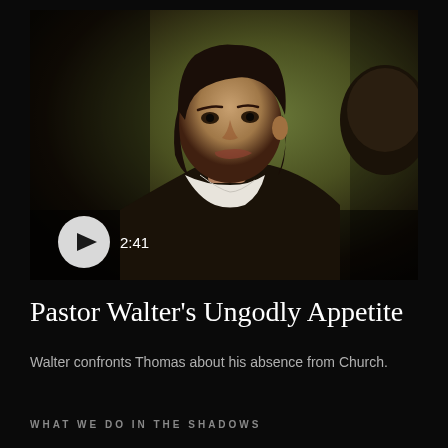[Figure (screenshot): Video thumbnail showing a man in historical costume (dark coat, white cravat) with medium-length dark hair, facing another figure. A play button and duration '2:41' overlay the bottom-left of the image.]
Pastor Walter’s Ungodly Appetite
Walter confronts Thomas about his absence from Church.
WHAT WE DO IN THE SHADOWS